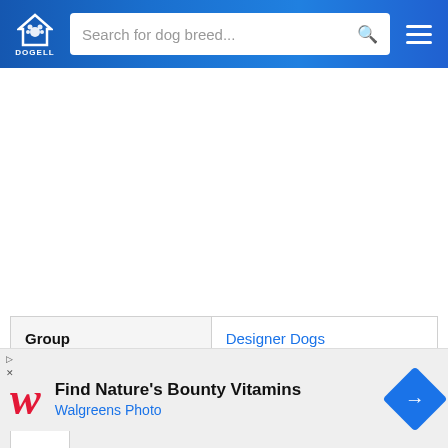DOGELL — Search for dog breed...
| Group | Designer Dogs |
| Popularity Rank | 655 |
| Reviews | 0 |
Find Nature's Bounty Vitamins
Walgreens Photo